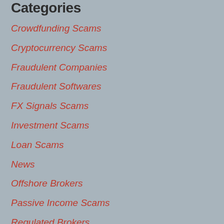Categories
Crowdfunding Scams
Cryptocurrency Scams
Fraudulent Companies
Fraudulent Softwares
FX Signals Scams
Investment Scams
Loan Scams
News
Offshore Brokers
Passive Income Scams
Regulated Brokers
Unregulated Brokers
Unregulated Exchanges